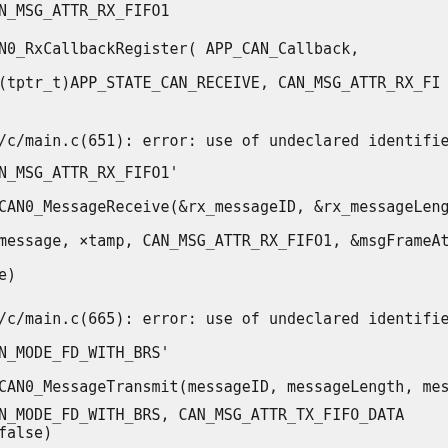N_MSG_ATTR_RX_FIFO1
N0_RxCallbackRegister( APP_CAN_Callback,
(tptr_t)APP_STATE_CAN_RECEIVE, CAN_MSG_ATTR_RX_FI
/c/main.c(651): error: use of undeclared identifier
N_MSG_ATTR_RX_FIFO1'
CAN0_MessageReceive(&rx_messageID, &rx_messageLength,
message, ×tamp, CAN_MSG_ATTR_RX_FIFO1, &msgFrameAt
e)
/c/main.c(665): error: use of undeclared identifier
N_MODE_FD_WITH_BRS'
CAN0_MessageTransmit(messageID, messageLength, message
N_MODE_FD_WITH_BRS, CAN_MSG_ATTR_TX_FIFO_DATA
false)